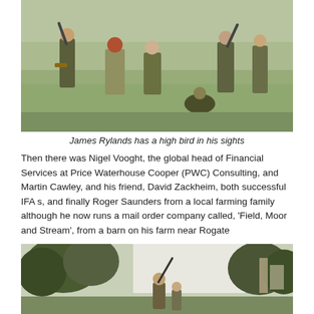[Figure (photo): Group of people in a field engaged in game shooting, wearing outdoor and hunting attire, some holding rifles pointed upward.]
James Rylands has a high bird in his sights
Then there was Nigel Vooght, the global head of Financial Services at Price Waterhouse Cooper (PWC) Consulting, and Martin Cawley, and his friend, David Zackheim, both successful IFA s, and finally Roger Saunders from a local farming family although he now runs a mail order company called, ‘Field, Moor and Stream’, from a barn on his farm near Rogate
[Figure (photo): A person aiming a rifle upward in a woodland/field setting with trees in the background and a structure visible in the distance.]